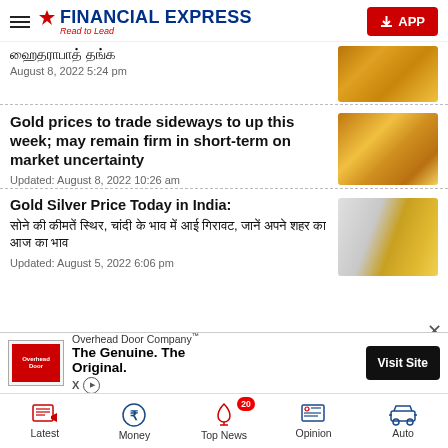FINANCIAL EXPRESS — Read to Lead
ஹைதராபாத் தங்க | August 8, 2022 5:24 pm
Gold prices to trade sideways to up this week; may remain firm in short-term on market uncertainty
Updated: August 8, 2022 10:26 am
Gold Silver Price Today in India: सोने की कीमतें स्थिर, चांदी के भाव में आई गिरावट, जानें अपने शहर का आज का भाव
Updated: August 5, 2022 6:06 pm
[Figure (screenshot): Advertisement for Overhead Door Company — The Genuine. The Original. with Visit Site button]
Latest | Money | Top News (20) | Opinion | Auto